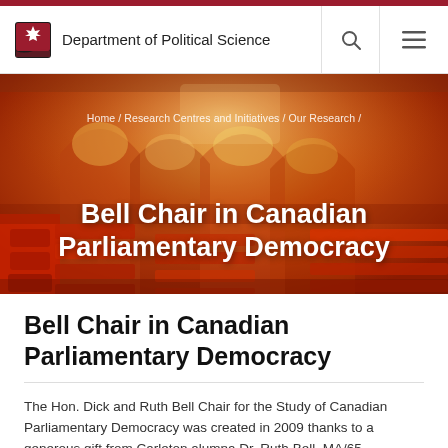Department of Political Science
[Figure (illustration): Watercolour painting of the Canadian Parliament interior with red/orange tones, showing parliamentary seating and arched architecture]
Home / Research Centres and Initiatives / Our Research /
Bell Chair in Canadian Parliamentary Democracy
Bell Chair in Canadian Parliamentary Democracy
The Hon. Dick and Ruth Bell Chair for the Study of Canadian Parliamentary Democracy was created in 2009 thanks to a generous gift from Carleton alumna Dr. Ruth Bell, MA/65,